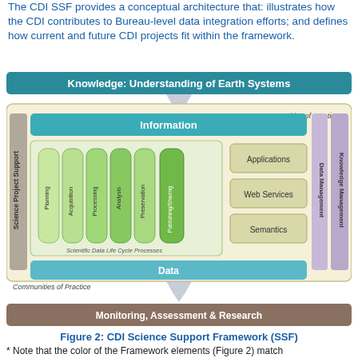The CDI SSF provides a conceptual architecture that: illustrates how the CDI contributes to Bureau-level data integration efforts; and defines how current and future CDI projects fit within the framework.
[Figure (infographic): CDI Science Support Framework diagram showing Knowledge: Understanding of Earth Systems at top, Monitoring, Assessment & Research at bottom, with inner box containing Information layer, Scientific Data Life Cycle Processes (Planning, Acquisition, Processing, Analysis, Preservation, Publishing/Sharing), Applications/Web Services/Semantics blocks, Data layer, Science Project Support side bar, Data Management and Knowledge Management side bars, and Communities of Practice labels.]
Figure 2: CDI Science Support Framework (SSF)
* Note that the color of the Framework elements (Figure 2) match